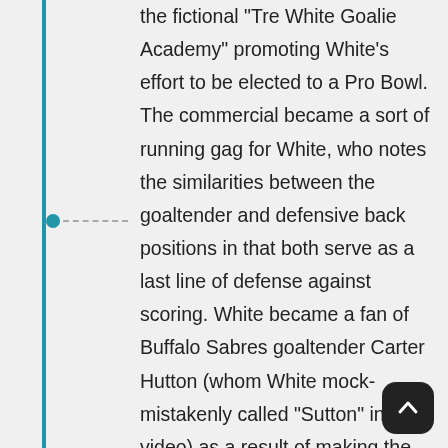the fictional "Tre White Goalie Academy" promoting White's effort to be elected to a Pro Bowl. The commercial became a sort of running gag for White, who notes the similarities between the goaltender and defensive back positions in that both serve as a last line of defense against scoring. White became a fan of Buffalo Sabres goaltender Carter Hutton (whom White mock-mistakenly called "Sutton" in the video) as a result of making the commercial, having otherwise largely been unaware of hockey before joining the Bills. In White's first Sunday Night Football appearance in 2019, White identified his alma mater as the Tre White Goalie Academy during